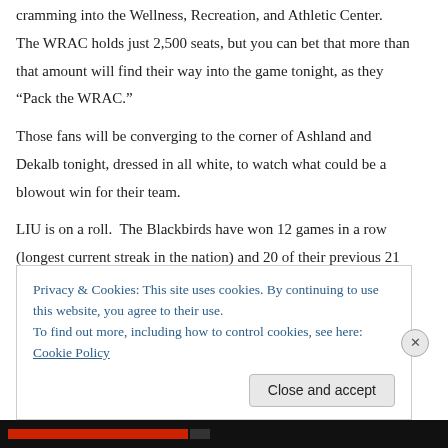cramming into the Wellness, Recreation, and Athletic Center. The WRAC holds just 2,500 seats, but you can bet that more than that amount will find their way into the game tonight, as they “Pack the WRAC.”
Those fans will be converging to the corner of Ashland and Dekalb tonight, dressed in all white, to watch what could be a blowout win for their team.
LIU is on a roll. The Blackbirds have won 12 games in a row (longest current streak in the nation) and 20 of their previous 21 games. They average almost 83 points per game. The Blackbirds have exceptional depth with eight players capable of scoring 15 or more points.
Privacy & Cookies: This site uses cookies. By continuing to use this website, you agree to their use.
To find out more, including how to control cookies, see here: Cookie Policy
Close and accept